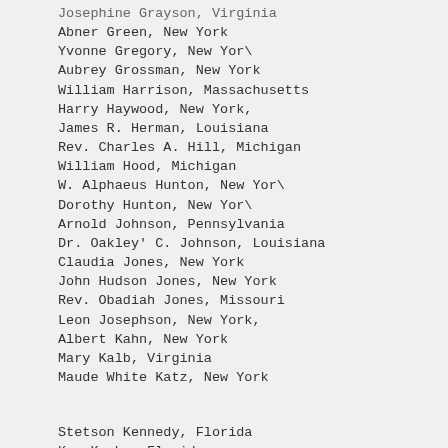Josephine Grayson, Virginia
Abner Green, New York
Yvonne Gregory, New Yor\
Aubrey Grossman, New York
William Harrison, Massachusetts
Harry Haywood, New York,
James R. Herman, Louisiana
Rev. Charles A. Hill, Michigan
William Hood, Michigan
W. Alphaeus Hunton, New Yor\
Dorothy Hunton, New Yor\
Arnold Johnson, Pennsylvania
Dr. Oakley' C. Johnson, Louisiana
Claudia Jones, New York
John Hudson Jones, New York
Rev. Obadiah Jones, Missouri
Leon Josephson, New York,
Albert Kahn, New York
Mary Kalb, Virginia
Maude White Katz, New York
Stetson Kennedy, Florida
Kay Kerby, Florida
Elizabeth Keyser, California